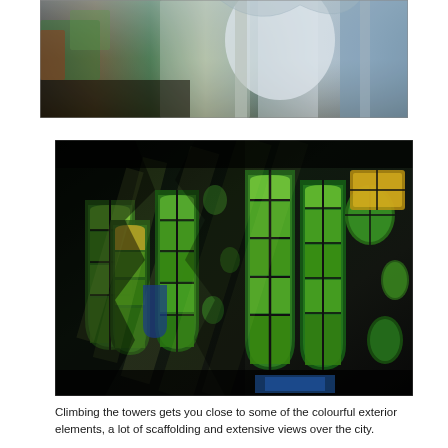[Figure (photo): Interior of Sagrada Familia showing ornate white sculptural elements, columns, and bright light streaming through windows with blue and green hues]
[Figure (photo): Dark interior of Sagrada Familia showing colorful stained glass windows in green, yellow, and blue tones with dramatic light rays filtering through the geometric window patterns]
Climbing the towers gets you close to some of the colourful exterior elements, a lot of scaffolding and extensive views over the city.